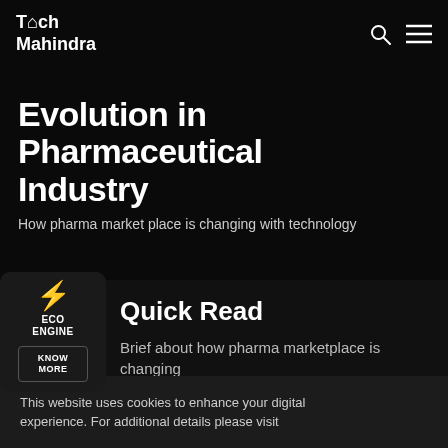Tech Mahindra
Evolution in Pharmaceutical Industry
How pharma market place is changing with technology
[Figure (logo): Eco Engine widget with lightning bolt icon, ECO ENGINE label, and KNOW MORE button]
Quick Read
Brief about how pharma marketplace is changing
The critical aspects in the pharma
This website uses cookies to enhance your digital experience. For additional details please visit